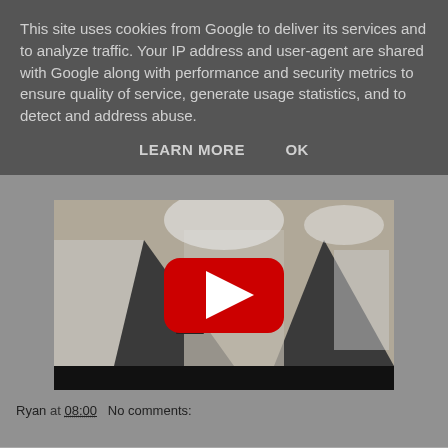This site uses cookies from Google to deliver its services and to analyze traffic. Your IP address and user-agent are shared with Google along with performance and security metrics to ensure quality of service, generate usage statistics, and to detect and address abuse.
LEARN MORE    OK
[Figure (screenshot): YouTube video thumbnail showing a BBC One video scene with people in an art gallery setting, a red YouTube play button overlay in the center, and a black video controls bar at the bottom.]
Ryan at 08:00    No comments: